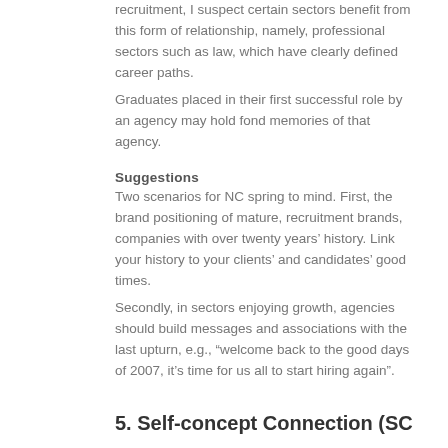recruitment, I suspect certain sectors benefit from this form of relationship, namely, professional sectors such as law, which have clearly defined career paths.
Graduates placed in their first successful role by an agency may hold fond memories of that agency.
Suggestions
Two scenarios for NC spring to mind. First, the brand positioning of mature, recruitment brands, companies with over twenty years' history. Link your history to your clients' and candidates' good times.
Secondly, in sectors enjoying growth, agencies should build messages and associations with the last upturn, e.g., “welcome back to the good days of 2007, it’s time for us all to start hiring again”.
5. Self-concept Connection (SC